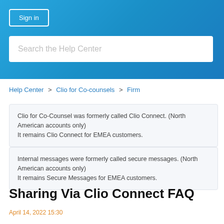Sign in
Search the Help Center
Help Center > Clio for Co-counsels > Firm
Clio for Co-Counsel was formerly called Clio Connect. (North American accounts only)
It remains Clio Connect for EMEA customers.
Internal messages were formerly called secure messages. (North American accounts only)
It remains Secure Messages for EMEA customers.
Sharing Via Clio Connect FAQ
April 14, 2022 15:30